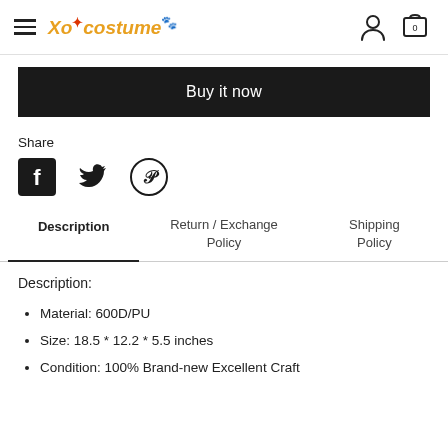Xocostume — hamburger menu, user icon, cart icon (0)
Buy it now
Share
[Figure (illustration): Social share icons: Facebook, Twitter, Pinterest]
Description | Return / Exchange Policy | Shipping Policy
Description:
Material: 600D/PU
Size: 18.5 * 12.2 * 5.5 inches
Condition: 100% Brand-new Excellent Craft